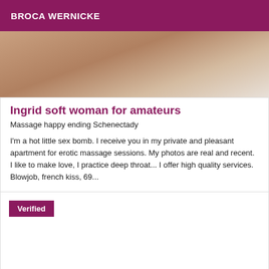BROCA WERNICKE
[Figure (photo): Blurred close-up photo with warm skin tones and soft light background]
Ingrid soft woman for amateurs
Massage happy ending Schenectady
I'm a hot little sex bomb. I receive you in my private and pleasant apartment for erotic massage sessions. My photos are real and recent. I like to make love, I practice deep throat... I offer high quality services. Blowjob, french kiss, 69...
Verified